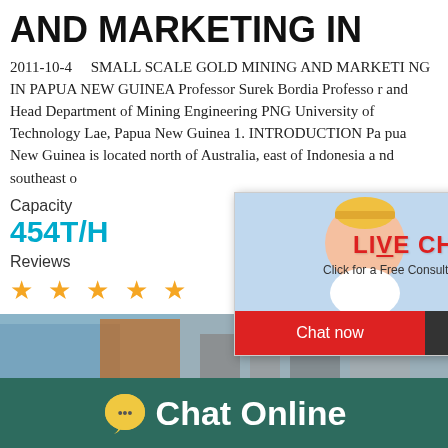AND MARKETING IN
2011-10-4    SMALL SCALE GOLD MINING AND MARKETING IN PAPUA NEW GUINEA Professor Surek Bordia Professor and Head Department of Mining Engineering PNG University of Technology Lae, Papua New Guinea 1. INTRODUCTION Papua New Guinea is located north of Australia, east of Indonesia and southeast of...
Capacity
454T/H
Reviews
[Figure (infographic): Five orange star rating icons]
[Figure (photo): Live chat popup with woman and construction workers in hard hats, red LIVE CHAT text, consultation button, Chat now and Chat later buttons]
[Figure (infographic): Right side widget showing smiley faces, gauge meter, and Click me to chat button, with partial Enquiry label]
[Figure (photo): Bottom strip showing industrial machinery]
[Figure (infographic): Dark teal bottom bar with chat bubble icon and Chat Online text]